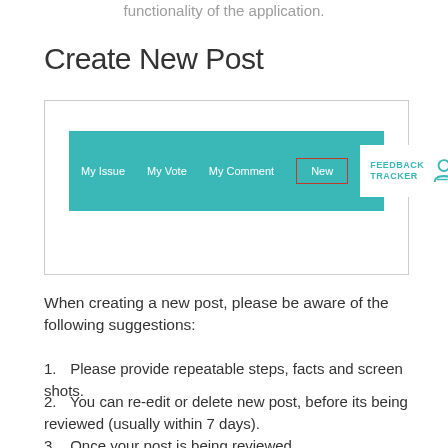functionality of the application.
Create New Post
[Figure (screenshot): Screenshot of a web application navigation bar with teal background, showing menu items: My Issue, My Vote, My Comment, New (highlighted with red border), and a Feedback Tracker logo badge on the right.]
When creating a new post, please be aware of the following suggestions:
Please provide repeatable steps, facts and screen shots.
You can re-edit or delete new post, before its being reviewed (usually within 7 days).
Once your post is being reviewed,